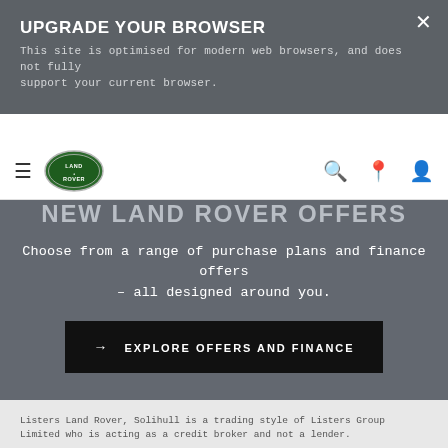UPGRADE YOUR BROWSER
This site is optimised for modern web browsers, and does not fully support your current browser.
[Figure (logo): Land Rover oval green logo with LAND ROVER text]
NEW LAND ROVER OFFERS
Choose from a range of purchase plans and finance offers – all designed around you.
→  EXPLORE OFFERS AND FINANCE
Listers Land Rover, Solihull is a trading style of Listers Group Limited who is acting as a credit broker and not a lender.
We typically receive commission for introducing you to Land Rover Financial Services to provide funding for your vehicle. The commission may be a flat fee amount or a percentage of the amount that you borrow.